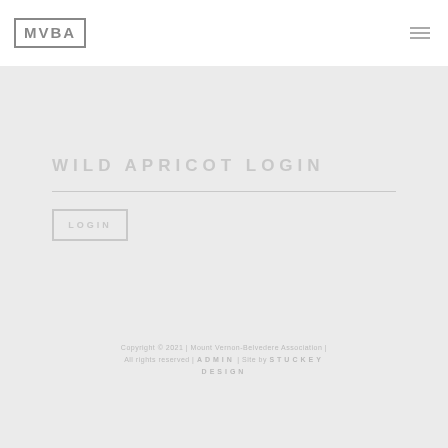MVBA
WILD APRICOT LOGIN
LOGIN
Copyright © 2021 | Mount Vernon-Belvedere Association | All rights reserved | ADMIN | Site by STUCKEY DESIGN